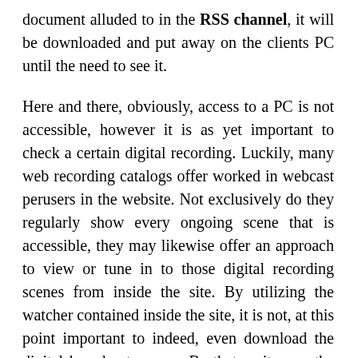document alluded to in the RSS channel, it will be downloaded and put away on the clients PC until the need to see it.

Here and there, obviously, access to a PC is not accessible, however it is as yet important to check a certain digital recording. Luckily, many web recording catalogs offer worked in webcast perusers in the website. Not exclusively do they regularly show every ongoing scene that is accessible, they may likewise offer an approach to view or tune in to those digital recording scenes from inside the site. By utilizing the watcher contained inside the site, it is not, at this point important to indeed, even download the digital broadcast scenes. Be that as it may, the capacity to move and offer the scenes after downloading it presents an awesome recording